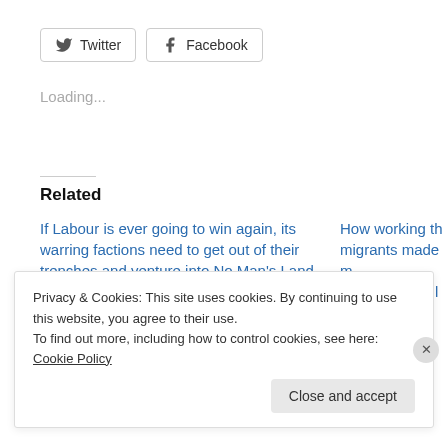[Figure (other): Twitter and Facebook social share buttons]
Loading...
Related
If Labour is ever going to win again, its warring factions need to get out of their trenches and venture into No Man's Land
December 23, 2019
In "Brexit"
How working th... migrants made m... in the EU, not l...
June 23, 2016
In "Boris Johnso..."
Privacy & Cookies: This site uses cookies. By continuing to use this website, you agree to their use.
To find out more, including how to control cookies, see here: Cookie Policy
Close and accept